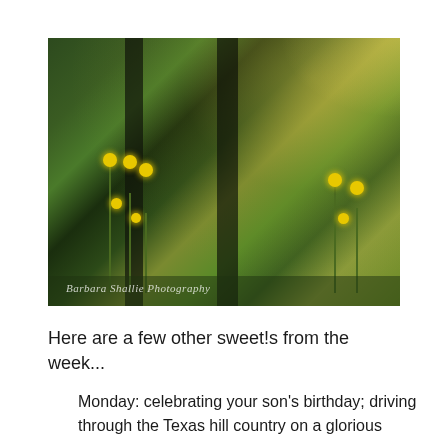[Figure (photo): Outdoor nature photograph showing yellow wildflowers growing tall among dark tree trunks and green foliage in a Texas hill country woodland setting. Watermark reads 'Barbara Shallie Photography'.]
Here are a few other sweet!s from the week...
Monday: celebrating your son's birthday; driving through the Texas hill country on a glorious